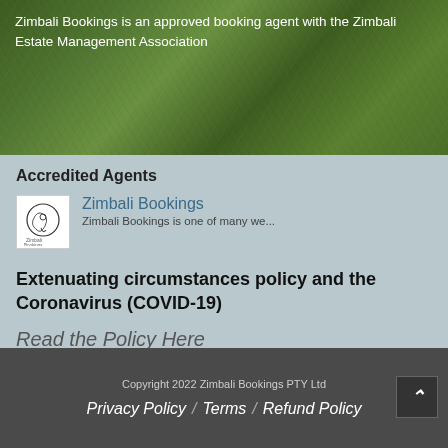Zimbali Bookings is an approved booking agent with the Zimbali Estate Management Association
Accredited Agents
[Figure (logo): Zimbali Bookings logo - circular design with chameleon]
Zimbali Bookings
Zimbali Bookings is one of many we...
Extenuating circumstances policy and the Coronavirus (COVID-19)
Read the Policy Here
Copyright 2022 Zimbali Bookings PTY Ltd
Privacy Policy / Terms / Refund Policy